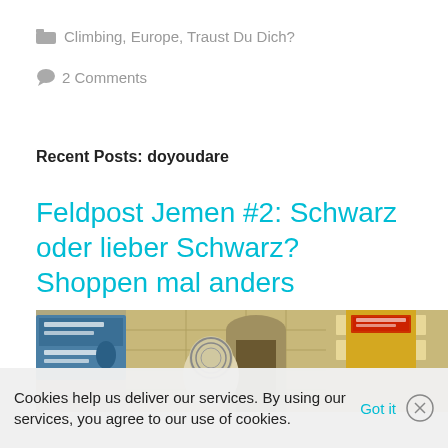Climbing, Europe, Traust Du Dich?
2 Comments
Recent Posts: doyoudare
Feldpost Jemen #2: Schwarz oder lieber Schwarz? Shoppen mal anders
[Figure (photo): Street scene in Yemen showing old city walls, Arabic signage, a figure with traditional head covering, and historic buildings with ornate facades.]
Cookies help us deliver our services. By using our services, you agree to our use of cookies. Got it